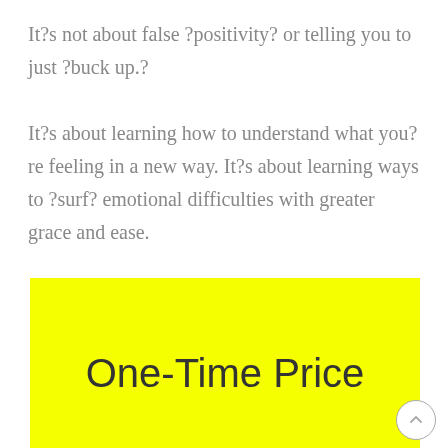It?s not about false ?positivity? or telling you to just ?buck up.?
It?s about learning how to understand what you?re feeling in a new way. It?s about learning ways to ?surf? emotional difficulties with greater grace and ease.
One-Time Price